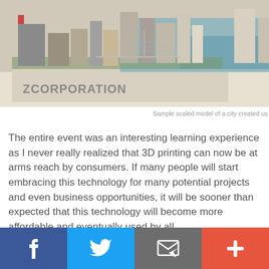[Figure (photo): A 3D printed scaled model of a city with buildings and streets, branded with 'ZCORPORATION' on the base]
Sample scaled model of a city created us
The entire event was an interesting learning experience as I never really realized that 3D printing can now be at arms reach by consumers. If many people will start embracing this technology for many potential projects and even business opportunities, it will be sooner than expected that this technology will become more affordable and eventually used by all.
[Figure (infographic): Social share bar with Facebook, Twitter, Email, and More (+) buttons]